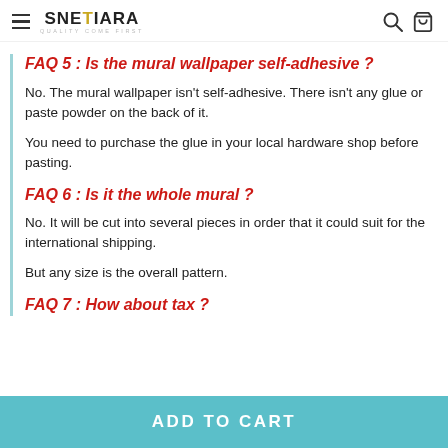SNETIARA – QUALITY COME FIRST
FAQ 5 : Is the mural wallpaper self-adhesive ?
No. The mural wallpaper isn't self-adhesive. There isn't any glue or paste powder on the back of it.
You need to purchase the glue in your local hardware shop before pasting.
FAQ 6 : Is it the whole mural ?
No. It will be cut into several pieces in order that it could suit for the international shipping.
But any size is the overall pattern.
FAQ 7 : How about tax ?
ADD TO CART